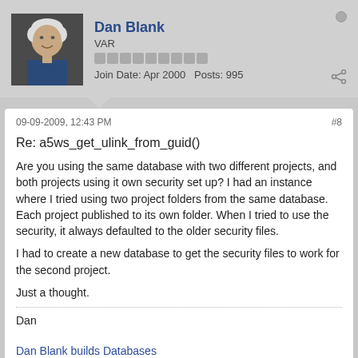Dan Blank | VAR | Join Date: Apr 2000 | Posts: 995
09-09-2009, 12:43 PM  #8
Re: a5ws_get_ulink_from_guid()
Are you using the same database with two different projects, and both projects using it own security set up? I had an instance where I tried using two project folders from the same database. Each project published to its own folder. When I tried to use the security, it always defaulted to the older security files.
I had to create a new database to get the security files to work for the second project.
Just a thought.
Dan
Dan Blank builds Databases
Skype: danblank